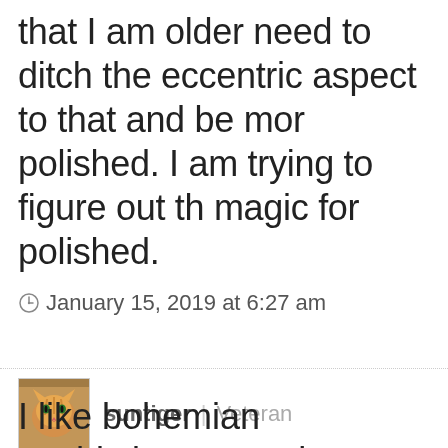that I am older need to ditch the eccentric aspect to that and be more polished. I am trying to figure out the magic for polished.
January 15, 2019 at 6:27 am
suntiger | Veteran
I like bohemian sophisticate or color drenched bohemian romance, but